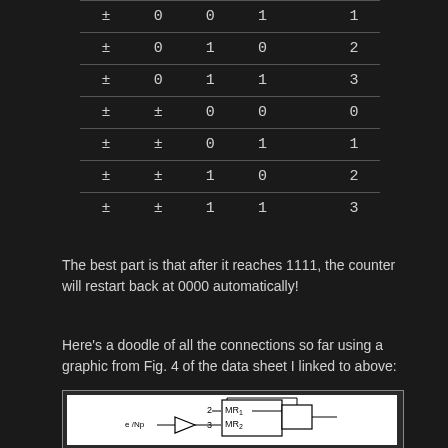| ± | 0 | 0 | 1 | 1 |
| ± | 0 | 1 | 0 | 2 |
| ± | 0 | 1 | 1 | 3 |
| ± | ± | 0 | 0 | 0 |
| ± | ± | 0 | 1 | 1 |
| ± | ± | 1 | 0 | 2 |
| ± | ± | 1 | 1 | 3 |
The best part is that after it reaches 1111, the counter will restart back at 0000 automatically!
Here's a doodle of all the connections so far using a graphic from Fig. 4 of the data sheet I linked to above:
[Figure (circuit-diagram): Circuit diagram showing connections with components labeled MR1, MR2, and a gate symbol (triangle/buffer), with input labeled 'e/Np' and pins numbered 2 and 3.]